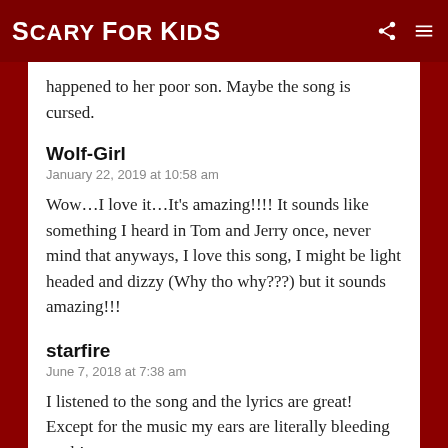Scary For Kids
happened to her poor son. Maybe the song is cursed.
Wolf-Girl
January 22, 2019 at 10:58 am
Wow…I love it…It's amazing!!!! It sounds like something I heard in Tom and Jerry once, never mind that anyways, I love this song, I might be light headed and dizzy (Why tho why???) but it sounds amazing!!!
starfire
June 7, 2018 at 7:38 am
I listened to the song and the lyrics are great! Except for the music my ears are literally bleeding ouch!